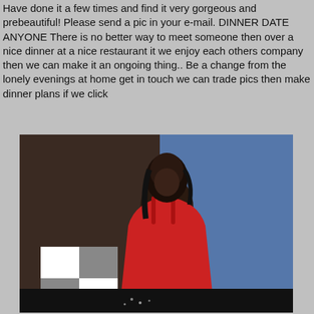Have done it a few times and find it very gorgeous and prebeautiful! Please send a pic in your e-mail. DINNER DATE ANYONE There is no better way to meet someone then over a nice dinner at a nice restaurant it we enjoy each others company then we can make it an ongoing thing.. Be a change from the lonely evenings at home get in touch we can trade pics then make dinner plans if we click
[Figure (photo): A woman wearing a red satin dress standing in front of a blue background.]